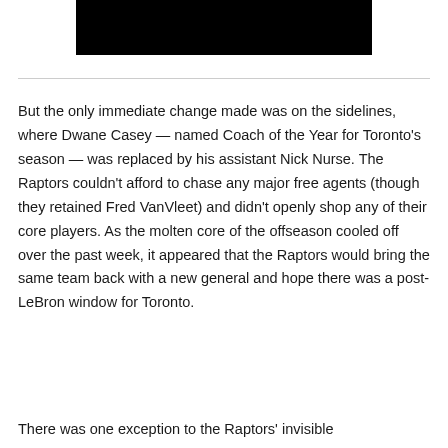[Figure (photo): Black rectangular image block at the top of the page]
But the only immediate change made was on the sidelines, where Dwane Casey — named Coach of the Year for Toronto's season — was replaced by his assistant Nick Nurse. The Raptors couldn't afford to chase any major free agents (though they retained Fred VanVleet) and didn't openly shop any of their core players. As the molten core of the offseason cooled off over the past week, it appeared that the Raptors would bring the same team back with a new general and hope there was a post-LeBron window for Toronto.
There was one exception to the Raptors' invisible